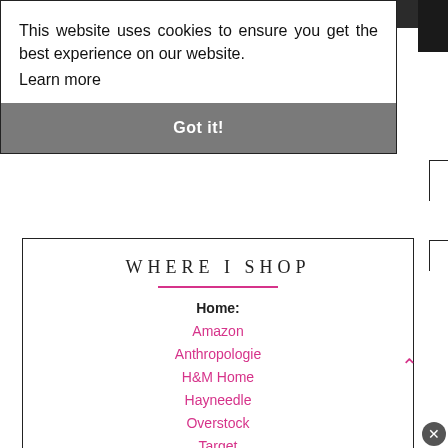Subscribe
This website uses cookies to ensure you get the best experience on our website.
Learn more
Got it!
WHERE I SHOP
Home:
Amazon
Anthropologie
H&M Home
Hayneedle
Overstock
Target
TJ Maxx